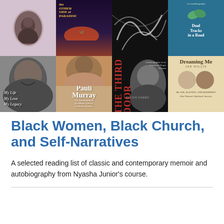[Figure (photo): Grid of book covers for Black Women, Black Church, and Self-Narratives reading list. Top row: a portrait photo book, 'The Other Side of Paradise', an abstract black and white photo book, and 'Dual Tracks in a Row' (autobiography). Bottom row: 'My Life My Love My Legacy' (Coretta Scott King), 'Pauli Murray: The Autobiography of a Black Activist, Feminist, Lawyer', 'The Third Door: Autobiography of an American Negro Woman' by Ellen Tarry, and 'Dreaming Me: Black, Baptist, and Buddhist' by Jan Willis.]
Black Women, Black Church, and Self-Narratives
A selected reading list of classic and contemporary memoir and autobiography from Nyasha Junior’s course.